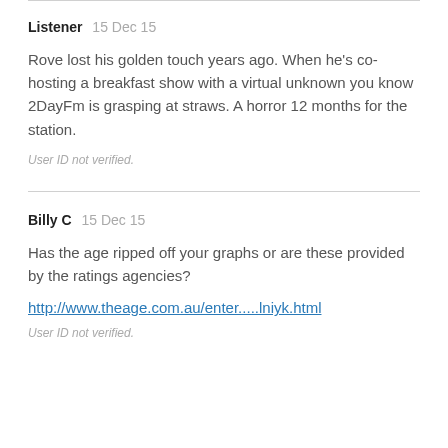Listener  15 Dec 15
Rove lost his golden touch years ago. When he's co-hosting a breakfast show with a virtual unknown you know 2DayFm is grasping at straws. A horror 12 months for the station.
User ID not verified.
Billy C  15 Dec 15
Has the age ripped off your graphs or are these provided by the ratings agencies?
http://www.theage.com.au/enter.....lniyk.html
User ID not verified.